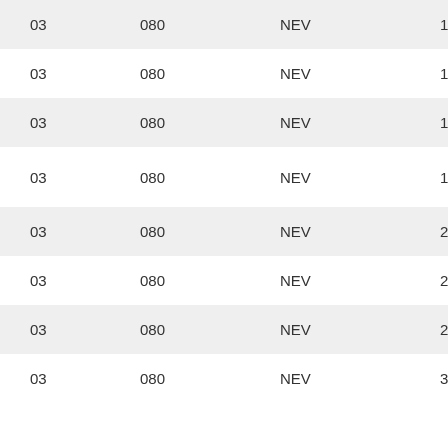| 03 | 080 | NEV | 14.164 |
| 03 | 080 | NEV | 14.970 |
| 03 | 080 | NEV | 16.285 |
| 03 | 080 | NEV | 18.276 |
| 03 | 080 | NEV | 22.412 |
| 03 | 080 | NEV | 27.292 |
| 03 | 080 | NEV | 29.489 |
| 03 | 080 | NEV | 31.783 |